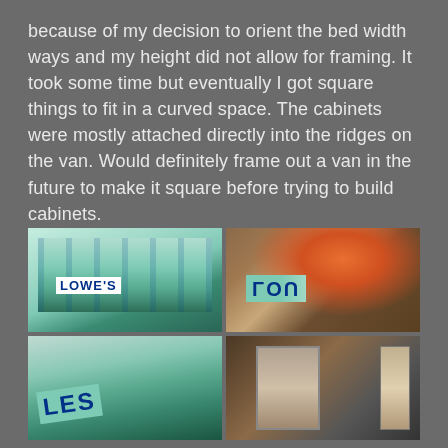because of my decision to orient the bed width ways and my height did not allow for framing. It took some time but eventually I got square things to fit in a curved space. The cabinets were mostly attached directly into the ridges on the van. Would definitely frame out a van in the future to make it square before trying to build cabinets.
[Figure (photo): Four photos in a 2x2 grid showing Lowe's foam insulation boards being cut and fitted. Top-left: stacked foam boards with Lowe's branding inside a van. Top-right: person in orange jacket bent over cutting foam board on wooden floor. Bottom-left: more foam boards with Lowe's branding, partially cut. Bottom-right: interior of van or structure showing framing/walls.]